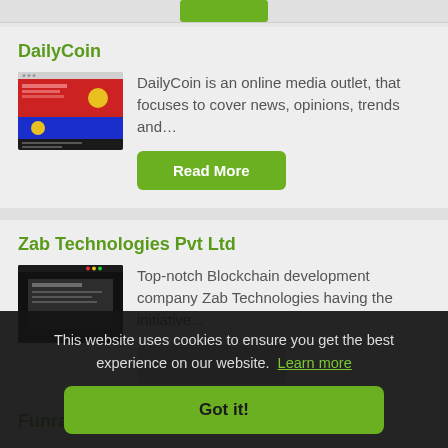[Figure (screenshot): Top partial green button visible at top of page]
DailyCoin
[Figure (screenshot): Thumbnail screenshot of DailyCoin website showing red, blue and dark sections]
DailyCoin is an online media outlet, that focuses to cover news, opinions, trends and...
Read More
Zab Technologies Pvt Ltd
[Figure (screenshot): Thumbnail screenshot of Zab Technologies website with dark background]
Top-notch Blockchain development company Zab Technologies having the initiative...
Read More
This website uses cookies to ensure you get the best experience on our website.  Learn more
Got it!
Funraiden